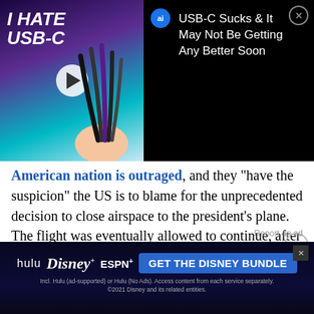[Figure (screenshot): Video banner showing 'I HATE USB-C' thumbnail with cables, ai badge, title 'USB-C Sucks & It May Not Be Getting Any Better Soon', and close button]
American nation is outraged, and they "have the suspicion" the US is to blame for the unprecedented decision to close airspace to the president's plane. The flight was eventually allowed to continue, after Spain granted them permission to refuel in the Canary Islands. As of 10am ET, the plane is en route over the Atlantic, and you can track it here.
[Figure (screenshot): Disney Bundle advertisement banner with Hulu, Disney+, ESPN+ logos and 'GET THE DISNEY BUNDLE' call to action]